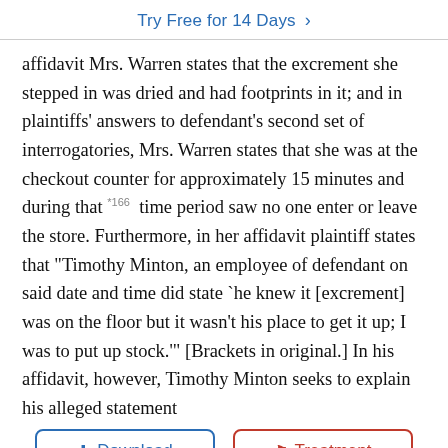Try Free for 14 Days >
affidavit Mrs. Warren states that the excrement she stepped in was dried and had footprints in it; and in plaintiffs' answers to defendant's second set of interrogatories, Mrs. Warren states that she was at the checkout counter for approximately 15 minutes and during that *166 time period saw no one enter or leave the store. Furthermore, in her affidavit plaintiff states that "Timothy Minton, an employee of defendant on said date and time did state `he knew it [excrement] was on the floor but it wasn't his place to get it up; I was to put up stock.'" [Brackets in original.] In his affidavit, however, Timothy Minton seeks to explain his alleged statement to Mrs. W—
Approximately one week after the accident, Mrs. Warren engaged me in a conversation at